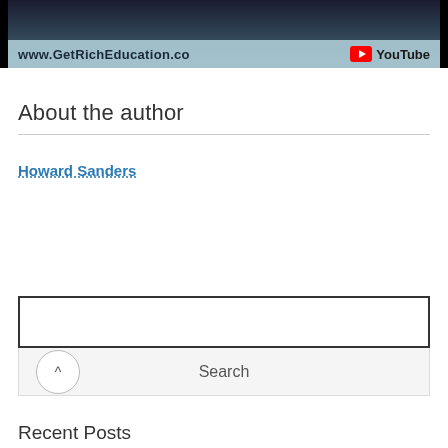[Figure (screenshot): YouTube video thumbnail showing www.GetRichEducation.com URL bar with YouTube logo badge on dark background]
About the author
Howard Sanders
Search input box (empty)
Search
Recent Posts